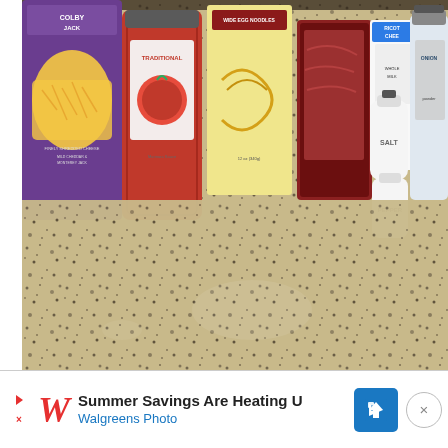[Figure (photo): A kitchen counter (granite countertop with black and tan speckles) with various cooking ingredients arranged across the top portion: a bag of Colby Jack finely shredded cheese, a jar of traditional marinara sauce, a box of wide egg noodles, a package of ground beef, a container of Ricotta cheese, ceramic salt and pepper shakers, and a bottle of onion powder.]
Summer Savings Are Heating U
Walgreens Photo